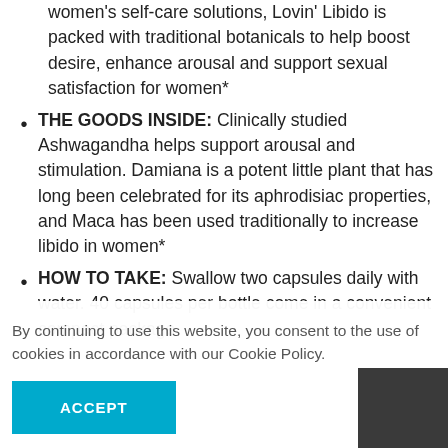women's self-care solutions, Lovin' Libido is packed with traditional botanicals to help boost desire, enhance arousal and support sexual satisfaction for women*
THE GOODS INSIDE: Clinically studied Ashwagandha helps support arousal and stimulation. Damiana is a potent little plant that has long been celebrated for its aphrodisiac properties, and Maca has been used traditionally to increase libido in women*
HOW TO TAKE: Swallow two capsules daily with water. 40 capsules per bottle come in a convenient compact package
By continuing to use this website, you consent to the use of cookies in accordance with our Cookie Policy.
ACCEPT